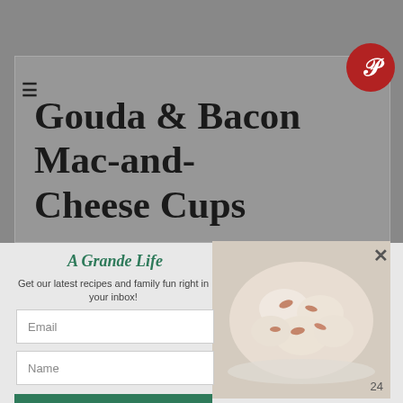[Figure (screenshot): Website screenshot showing a food blog page. Background is gray. A large bold title reads 'Gouda & Bacon Mac-and-Cheese Cups'. A popup modal overlay shows 'A Grande Life' newsletter signup with email and name fields and a Subscribe button. A food photo of mac and cheese cups is visible on the right side of the modal. A Pinterest button is shown top right.]
Gouda & Bacon Mac-and-Cheese Cups
A Grande Life
Get our latest recipes and family fun right in your inbox!
Email
Name
SUBSCRIBE